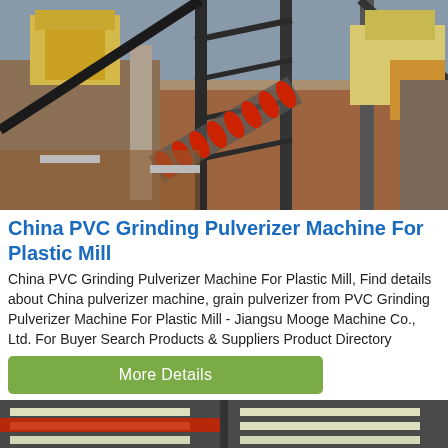[Figure (photo): Outdoor industrial construction site with conveyor belts (red rollers), steel framing structures, yellow machinery/crusher equipment on left and right, earthen ground, concrete pillars, taken from elevated vantage point. Live Chat bubble overlay in bottom-right corner.]
China PVC Grinding Pulverizer Machine For Plastic Mill
China PVC Grinding Pulverizer Machine For Plastic Mill, Find details about China pulverizer machine, grain pulverizer from PVC Grinding Pulverizer Machine For Plastic Mill - Jiangsu Mooge Machine Co., Ltd. For Buyer Search Products & Suppliers Product Directory
More Details
[Figure (photo): Interior of industrial facility showing ceiling with fluorescent lights and what appears to be a red crane rail or pipe running horizontally.]